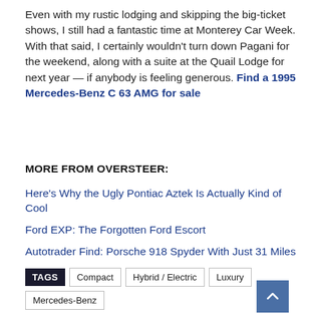Even with my rustic lodging and skipping the big-ticket shows, I still had a fantastic time at Monterey Car Week. With that said, I certainly wouldn't turn down Pagani for the weekend, along with a suite at the Quail Lodge for next year — if anybody is feeling generous. Find a 1995 Mercedes-Benz C 63 AMG for sale
MORE FROM OVERSTEER:
Here's Why the Ugly Pontiac Aztek Is Actually Kind of Cool
Ford EXP: The Forgotten Ford Escort
Autotrader Find: Porsche 918 Spyder With Just 31 Miles
TAGS: Compact | Hybrid / Electric | Luxury | Mercedes-Benz | Mercedes-Benz C 63 AMG | Oversteer | Performance | Sedan